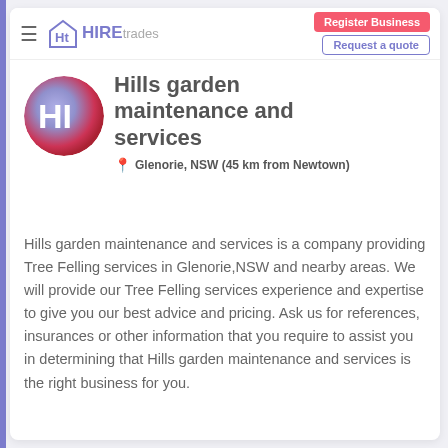HIREtrades | Hills garden maintenance and services | Register Business | Request a quote
Hills garden maintenance and services
Glenorie, NSW (45 km from Newtown)
Hills garden maintenance and services is a company providing Tree Felling services in Glenorie,NSW and nearby areas. We will provide our Tree Felling services experience and expertise to give you our best advice and pricing. Ask us for references, insurances or other information that you require to assist you in determining that Hills garden maintenance and services is the right business for you.